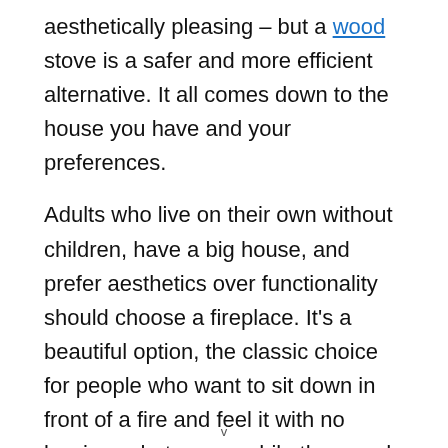aesthetically pleasing – but a wood stove is a safer and more efficient alternative. It all comes down to the house you have and your preferences.
Adults who live on their own without children, have a big house, and prefer aesthetics over functionality should choose a fireplace. It's a beautiful option, the classic choice for people who want to sit down in front of a fire and feel it with no barriers whatsoever while they read a book during a cold winter night.
Of course, that's not the only option. Bigger families